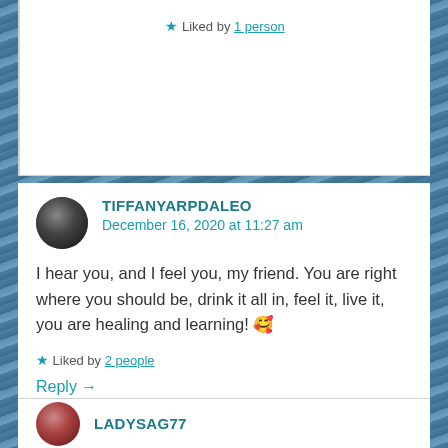★ Liked by 1 person
TIFFANYARPDALEO
December 16, 2020 at 11:27 am
I hear you, and I feel you, my friend. You are right where you should be, drink it all in, feel it, live it, you are healing and learning! 🥰
★ Liked by 2 people
Reply →
LADYSAG77